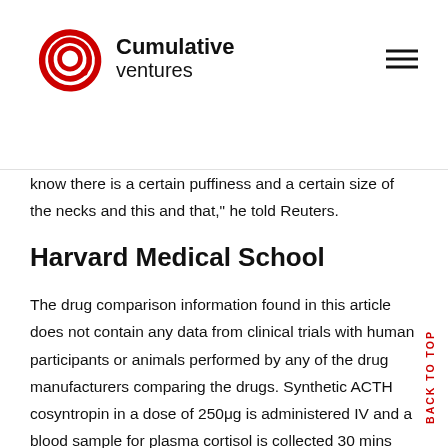Cumulative ventures
know there is a certain puffiness and a certain size of the necks and this and that," he told Reuters.
Harvard Medical School
The drug comparison information found in this article does not contain any data from clinical trials with human participants or animals performed by any of the drug manufacturers comparing the drugs. Synthetic ACTH cosyntropin in a dose of 250μg is administered IV and a blood sample for plasma cortisol is collected 30 mins later. Last medically reviewed on June 27,